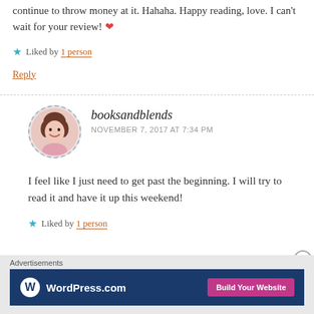continue to throw money at it. Hahaha. Happy reading, love. I can't wait for your review! ❤
★ Liked by 1 person
Reply
[Figure (photo): Circular avatar photo of a smiling woman with brown hair, pink top, dashed border]
booksandblends
NOVEMBER 7, 2017 AT 7:34 PM
I feel like I just need to get past the beginning. I will try to read it and have it up this weekend!
★ Liked by 1 person
Advertisements
[Figure (screenshot): WordPress.com advertisement banner with dark blue background, WordPress logo, and pink 'Build Your Website' button]